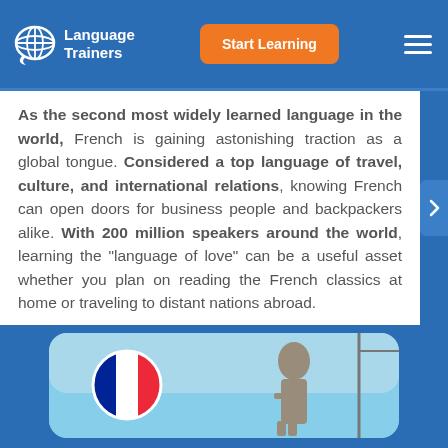Language Trainers | Start Learning
As the second most widely learned language in the world, French is gaining astonishing traction as a global tongue. Considered a top language of travel, culture, and international relations, knowing French can open doors for business people and backpackers alike. With 200 million speakers around the world, learning the "language of love" can be a useful asset whether you plan on reading the French classics at home or traveling to distant nations abroad.
[Figure (photo): French flag circle on left and a statue figure partially visible on right, set against a blue sky background, inside a rounded rectangle card.]